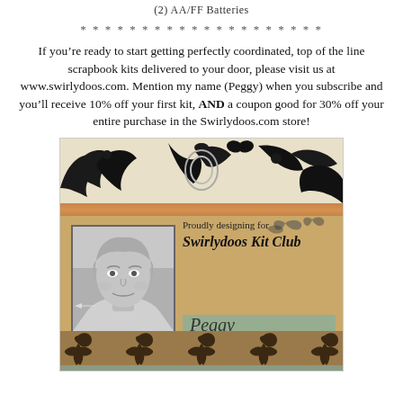(2) AA/FF Batteries
* * * * * * * * * * * * * * * * * * * *
If you’re ready to start getting perfectly coordinated, top of the line scrapbook kits delivered to your door, please visit us at www.swirlydoos.com. Mention my name (Peggy) when you subscribe and you’ll receive 10% off your first kit, AND a coupon good for 30% off your entire purchase in the Swirlydoos.com store!
[Figure (photo): Decorative badge/card for Swirlydoos Kit Club featuring a woman's black and white portrait photo on the left, ornamental swirl designs at the top, an orange stripe, aged parchment background, text reading 'Proudly designing for Swirlydoos Kit Club' and the name 'Peggy' in script, with teal watercolor accent and dark ornamental border at the bottom.]